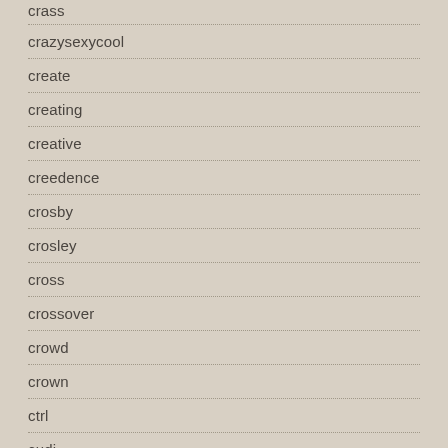crass
crazysexycool
create
creating
creative
creedence
crosby
crosley
cross
crossover
crowd
crown
ctrl
cudi
culture
cuphead